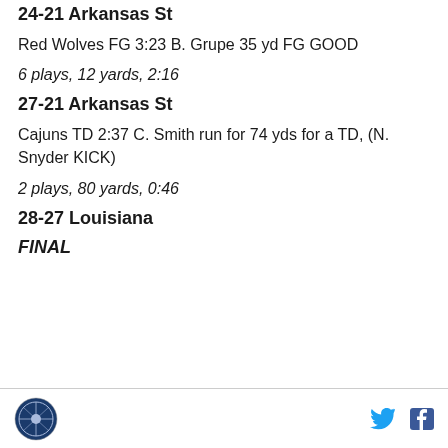24-21 Arkansas St
Red Wolves FG 3:23 B. Grupe 35 yd FG GOOD
6 plays, 12 yards, 2:16
27-21 Arkansas St
Cajuns TD 2:37 C. Smith run for 74 yds for a TD, (N. Snyder KICK)
2 plays, 80 yards, 0:46
28-27 Louisiana
FINAL
logo and social share icons